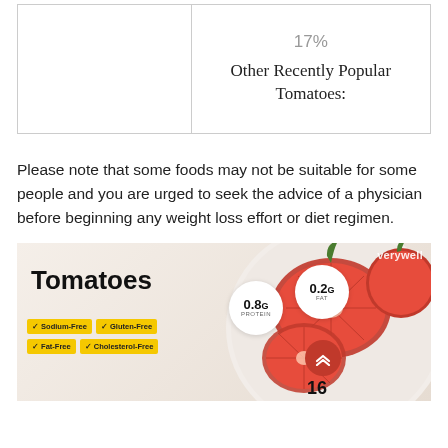17%
Other Recently Popular Tomatoes:
Please note that some foods may not be suitable for some people and you are urged to seek the advice of a physician before beginning any weight loss effort or diet regimen.
[Figure (infographic): Tomatoes nutrition infographic showing sliced tomatoes on a plate with nutrition bubbles: 0.8g Protein, 0.2g Fat, and tags: Sodium-Free, Gluten-Free, Fat-Free, Cholesterol-Free. Number 16 visible at bottom. 'verywell' watermark top right.]